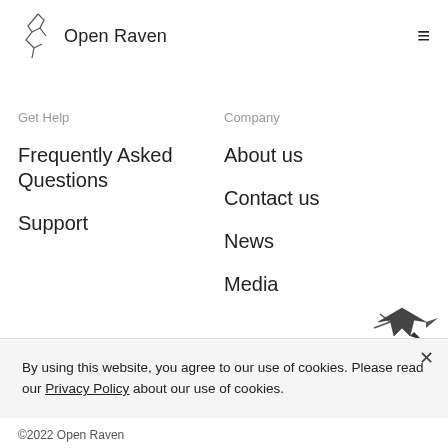Open Raven
Get Help
Frequently Asked Questions
Support
Company
About us
Contact us
News
Media
By using this website, you agree to our use of cookies. Please read our Privacy Policy about our use of cookies.
©2022 Open Raven